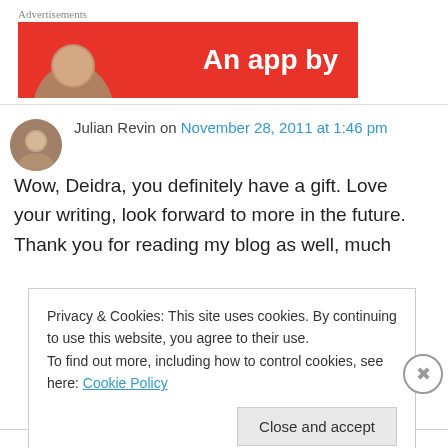Advertisements
[Figure (illustration): Red advertisement banner with text 'An app by' in white bold letters on red background, with partial avatar image on left]
Julian Revin on November 28, 2011 at 1:46 pm
Wow, Deidra, you definitely have a gift. Love your writing, look forward to more in the future. Thank you for reading my blog as well, much
Privacy & Cookies: This site uses cookies. By continuing to use this website, you agree to their use.
To find out more, including how to control cookies, see here: Cookie Policy
Close and accept